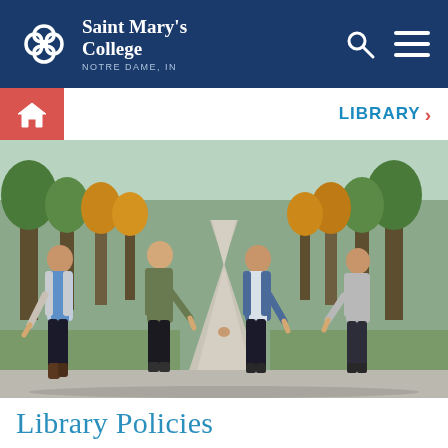Saint Mary's College NOTRE DAME, IN
[Figure (screenshot): Website screenshot showing Saint Mary's College header with dark blue background, college logo (cross/knot symbol), college name in white serif font, NOTRE DAME, IN subtitle, search icon and hamburger menu on right]
[Figure (photo): Four young women holding hands in a line on a tree-lined campus walkway in autumn. From left: woman in blue top with grey cardigan, woman in olive green shirt with black pants, woman in denim jacket over white top with dark pants, woman in grey sweater.]
Library Policies